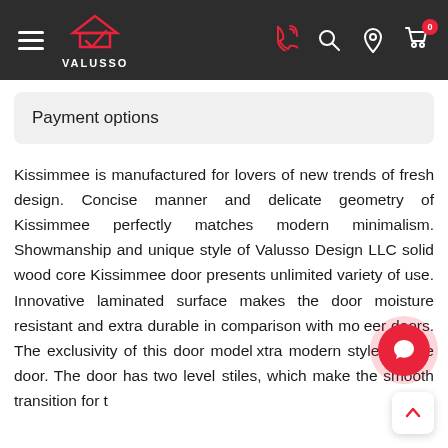[Figure (logo): Valusso logo with house/checkmark icon and navigation icons (phone, search, location, cart) on dark header bar]
Payment options
Kissimmee is manufactured for lovers of new trends of fresh design. Concise manner and delicate geometry of Kissimmee perfectly matches modern minimalism. Showmanship and unique style of Valusso Design LLC solid wood core Kissimmee door presents unlimited variety of use. Innovative laminated surface makes the door moisture resistant and extra durable in comparison with mo...eer doors. The exclusivity of this door model...xtra modern styles of the door. The door has two level... stiles, which make the smooth transition for t...